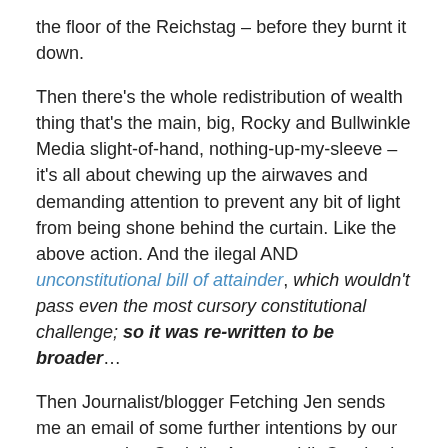the floor of the Reichstag – before they burnt it down.
Then there's the whole redistribution of wealth thing that's the main, big, Rocky and Bullwinkle Media slight-of-hand, nothing-up-my-sleeve – it's all about chewing up the airwaves and demanding attention to prevent any bit of light from being shone behind the curtain. Like the above action. And the ilegal AND unconstitutional bill of attainder, which wouldn't pass even the most cursory constitutional challenge; so it was re-written to be broader…
Then Journalist/blogger Fetching Jen sends me an email of some further intentions by our non-taxpaying Socialist Apparatchik Overlords:
Friends:
I just found out about a meeting coming up on April 2nd